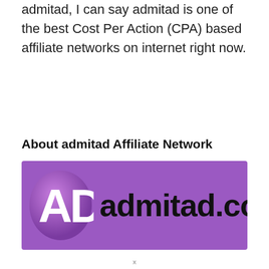admitad, I can say admitad is one of the best Cost Per Action (CPA) based affiliate networks on internet right now.
About admitad Affiliate Network
[Figure (logo): admitad.com logo banner — purple background with a circular 'AD' icon on the left and 'admitad.com' text in bold dark letters on the right]